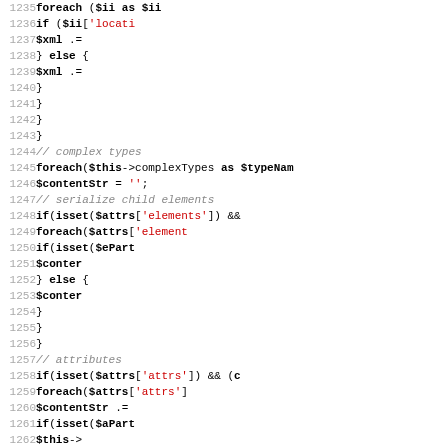[Figure (screenshot): PHP source code listing, lines 1235-1267, showing XML serialization logic with complex types, foreach loops, isset checks, and string concatenation operations.]